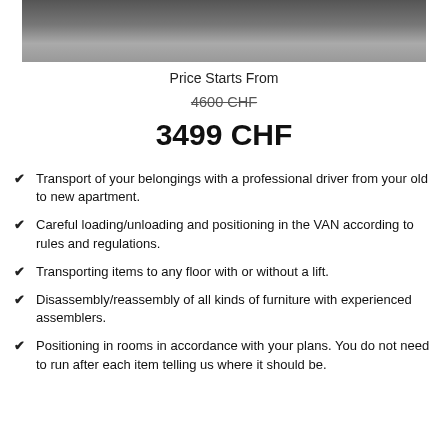[Figure (photo): Partial view of a vehicle on a road, photo cropped at top of page]
Price Starts From
4600 CHF
3499 CHF
Transport of your belongings with a professional driver from your old to new apartment.
Careful loading/unloading and positioning in the VAN according to rules and regulations.
Transporting items to any floor with or without a lift.
Disassembly/reassembly of all kinds of furniture with experienced assemblers.
Positioning in rooms in accordance with your plans. You do not need to run after each item telling us where it should be.